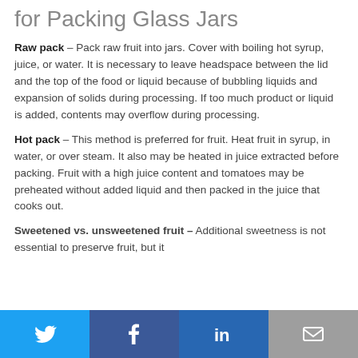for Packing Glass Jars
Raw pack - Pack raw fruit into jars. Cover with boiling hot syrup, juice, or water. It is necessary to leave headspace between the lid and the top of the food or liquid because of bubbling liquids and expansion of solids during processing. If too much product or liquid is added, contents may overflow during processing.
Hot pack - This method is preferred for fruit. Heat fruit in syrup, in water, or over steam. It also may be heated in juice extracted before packing. Fruit with a high juice content and tomatoes may be preheated without added liquid and then packed in the juice that cooks out.
Sweetened vs. unsweetened fruit - Additional sweetness is not essential to preserve fruit, but it